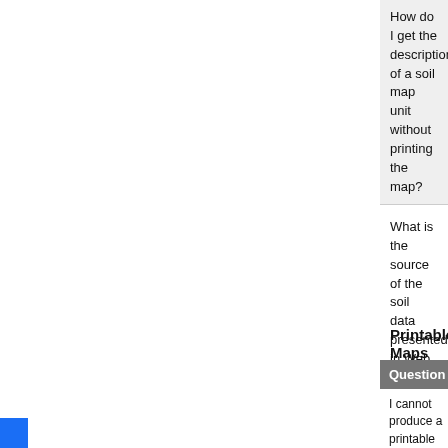Give Feedback
How do I get the description of a soil map unit without printing the map?
What is the source of the soil data presented in Web Soil Survey?
Printable Maps and Rep...
| Question |
| --- |
| I cannot produce a printable version of the soil map. I have tried several times, and each time it says "Generating printable version..." when it's done, no printable w... appears |